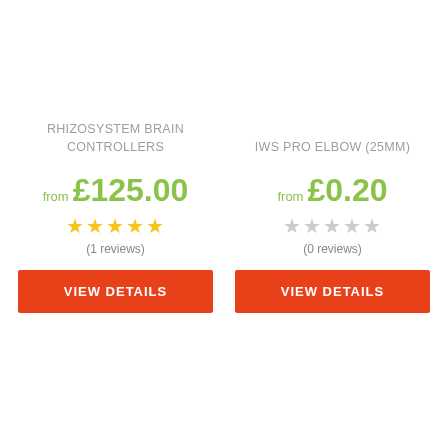RHIZOSYSTEM BRAIN CONTROLLERS
from £125.00
★ ★ ★ ★ ★
(1 reviews)
VIEW DETAILS
IWS PRO ELBOW (25MM)
from £0.20
★ ★ ★ ★ ★
(0 reviews)
VIEW DETAILS